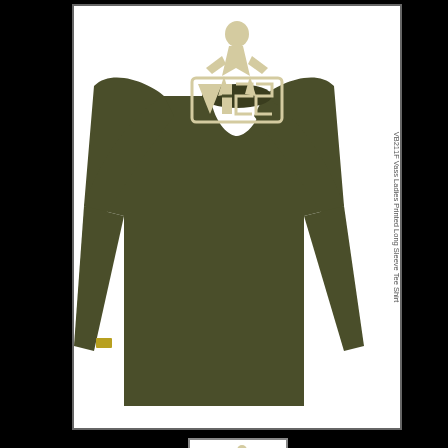[Figure (photo): Large product photo of an olive/khaki green ladies long sleeve tee shirt with VASS logo print on chest (woman figure with VASS text). White background with thin border. Side label reads VB211F Vass Ladies Printed Long Sleeve Tee Shirt rotated 90 degrees on right side.]
[Figure (photo): Small thumbnail of the same olive green long sleeve tee shirt with VASS logo, shown in a bordered box.]
Vass Ladies Printed Long Sleeve Tee Shirt